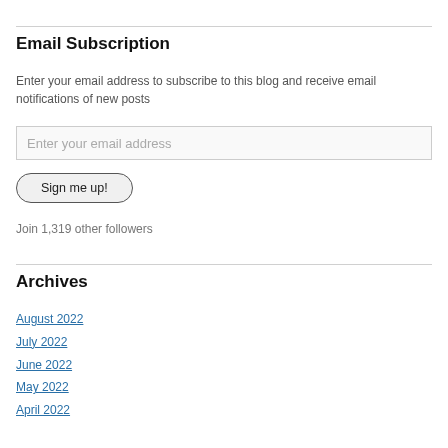Email Subscription
Enter your email address to subscribe to this blog and receive email notifications of new posts
Enter your email address
Sign me up!
Join 1,319 other followers
Archives
August 2022
July 2022
June 2022
May 2022
April 2022